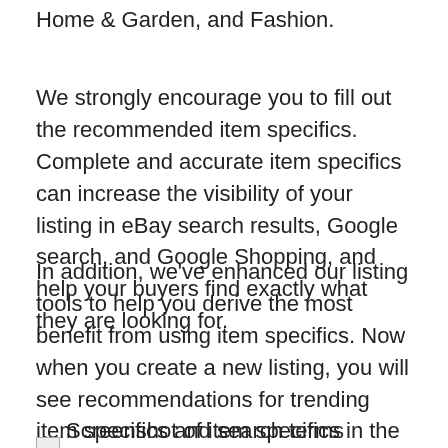Home & Garden, and Fashion.
We strongly encourage you to fill out the recommended item specifics. Complete and accurate item specifics can increase the visibility of your listing in eBay search results, Google search, and Google Shopping, and help your buyers find exactly what they are looking for.
In addition, we've enhanced our listing tools to help you derive the most benefit from using item specifics. Now when you create a new listing, you will see recommendations for trending item specifics and search terms frequently used by buyers. Starting in October, we'll add indicators that will make it easier for you to identify listings that could benefit from additional item specifics. We will also provide single and bulk capabilities on the Active listings page in Seller Hub to help you add them.
Screenshot of item specifics in the listing flow, divided